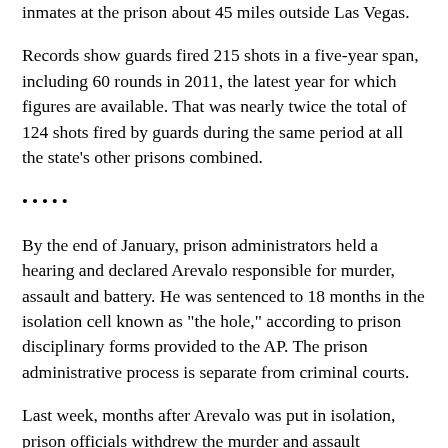inmates at the prison about 45 miles outside Las Vegas.
Records show guards fired 215 shots in a five-year span, including 60 rounds in 2011, the latest year for which figures are available. That was nearly twice the total of 124 shots fired by guards during the same period at all the state's other prisons combined.
•••••
By the end of January, prison administrators held a hearing and declared Arevalo responsible for murder, assault and battery. He was sentenced to 18 months in the isolation cell known as "the hole," according to prison disciplinary forms provided to the AP. The prison administrative process is separate from criminal courts.
Last week, months after Arevalo was put in isolation, prison officials withdrew the murder and assault allegations after objections from his lawyer and repeated questions from the AP.